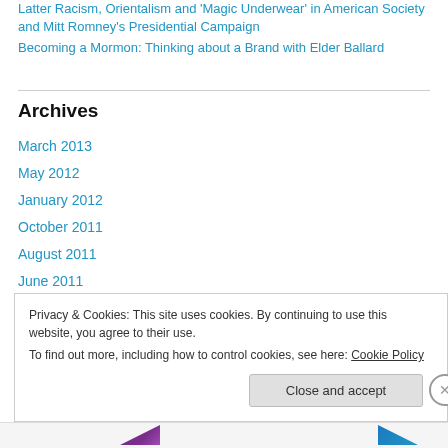Latter Racism, Orientalism and 'Magic Underwear' in American Society and Mitt Romney's Presidential Campaign
Becoming a Mormon: Thinking about a Brand with Elder Ballard
Archives
March 2013
May 2012
January 2012
October 2011
August 2011
June 2011
December 2010
Privacy & Cookies: This site uses cookies. By continuing to use this website, you agree to their use.
To find out more, including how to control cookies, see here: Cookie Policy
Close and accept